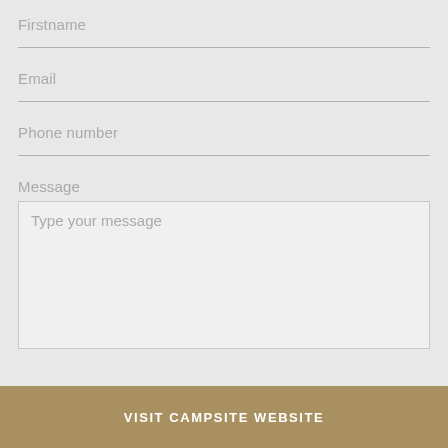Firstname
Email
Phone number
Message
Type your message
VISIT CAMPSITE WEBSITE